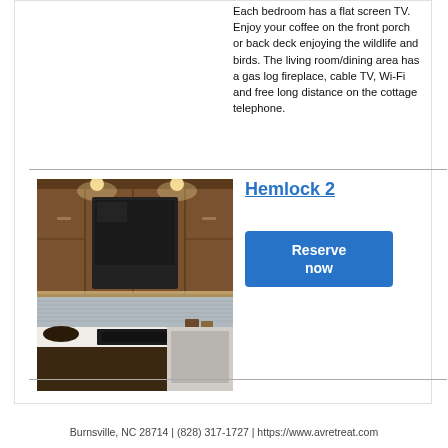Each bedroom has a flat screen TV. Enjoy your coffee on the front porch or back deck enjoying the wildlife and birds. The living room/dining area has a gas log fireplace, cable TV, Wi-Fi and free long distance on the cottage telephone.
Hemlock 2
[Figure (photo): Interior kitchen photo showing wood cabinets, microwave, backsplash, and countertop with stove]
Burnsville, NC 28714 | (828) 317-1727 | https://www.avretreat.com